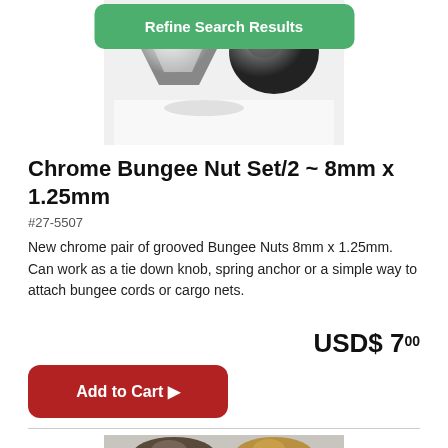[Figure (screenshot): Green Refine Search Results button overlay at top of page]
[Figure (photo): Chrome bungee nuts product photo showing two chrome hexagonal/round nuts from above on white background]
Chrome Bungee Nut Set/2 ~ 8mm x 1.25mm
#27-5507
New chrome pair of grooved Bungee Nuts 8mm x 1.25mm. Can work as a tie down knob, spring anchor or a simple way to attach bungee cords or cargo nets.
USD$ 7.00
Add to Cart ▶
[Figure (photo): Bottom product photo showing two bungee knobs/studs with rounded tops, one dark bronze and one chrome/gold colored]